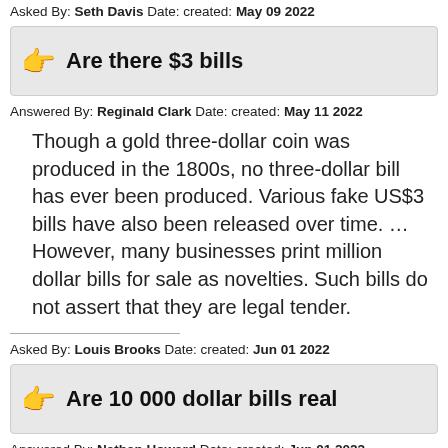Asked By: Seth Davis Date: created: May 09 2022
Are there $3 bills
Answered By: Reginald Clark Date: created: May 11 2022
Though a gold three-dollar coin was produced in the 1800s, no three-dollar bill has ever been produced. Various fake US$3 bills have also been released over time. … However, many businesses print million dollar bills for sale as novelties. Such bills do not assert that they are legal tender.
Asked By: Louis Brooks Date: created: Jun 01 2022
Are 10 000 dollar bills real
Answered By: Nathan Howard Date: created: Jun 01 2022
The $10,000 bill featuring the portrait of